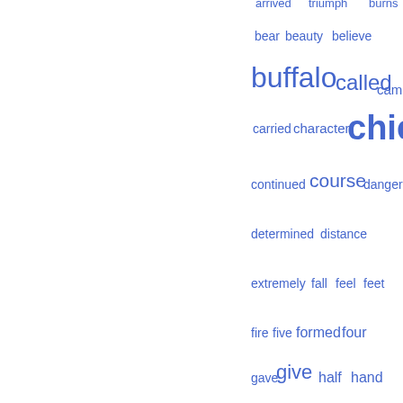[Figure (infographic): Word cloud with blue words of varying sizes representing word frequency. Words include: arrived, triumph, burns, bear, beauty, believe, buffalo, called, camp, carried, character, chief, continued, course, danger, determined, distance, extremely, fall, feel, feet, fire, five, formed, four, gave, give, half, hand, head, heard, hills, horses, hour, hundred, hunt, hunter, Indian, island, killed, kind, known, labour, land, latter, leave, less, light, lodge, look, manner, means, meat, miles, minutes, morning, nature]